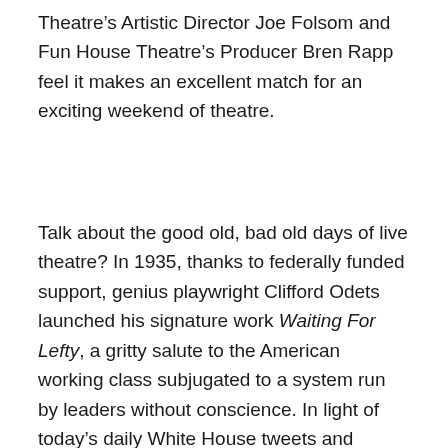Theatre's Artistic Director Joe Folsom and Fun House Theatre's Producer Bren Rapp feel it makes an excellent match for an exciting weekend of theatre.
Talk about the good old, bad old days of live theatre? In 1935, thanks to federally funded support, genius playwright Clifford Odets launched his signature work Waiting For Lefty, a gritty salute to the American working class subjugated to a system run by leaders without conscience. In light of today's daily White House tweets and penurious announcements handed out for public consumption, he might have written the play last week. Upstart Theatre performs Waiting For Lefty in Ash Studios' rough hewn warehouse space near Fair Park, where the